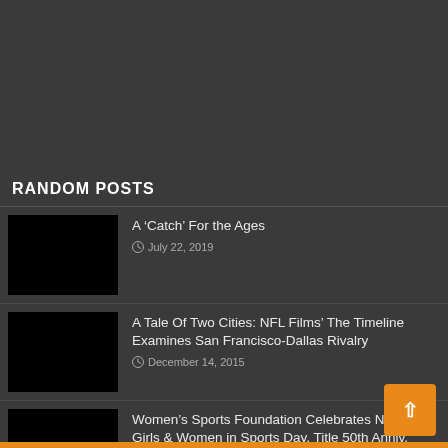[Figure (other): Dark gray empty area at the top of the page]
RANDOM POSTS
[Figure (photo): Black thumbnail image for post 1]
A ‘Catch’ For the Ages
July 22, 2019
[Figure (photo): Black thumbnail image for post 2]
A Tale Of Two Cities: NFL Films’ The Timeline Examines San Francisco-Dallas Rivalry
December 14, 2015
[Figure (photo): Black thumbnail image for post 3]
Women’s Sports Foundation Celebrates National Girls & Women in Sports Day, Title 50th Anniv.